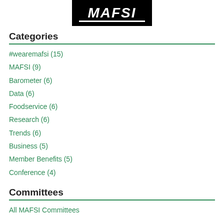[Figure (logo): MAFSI logo — white bold italic text on black background with white underline bar]
Categories
#wearemafsi (15)
MAFSI (9)
Barometer (6)
Data (6)
Foodservice (6)
Research (6)
Trends (6)
Business (5)
Member Benefits (5)
Conference (4)
Committees
All MAFSI Committees